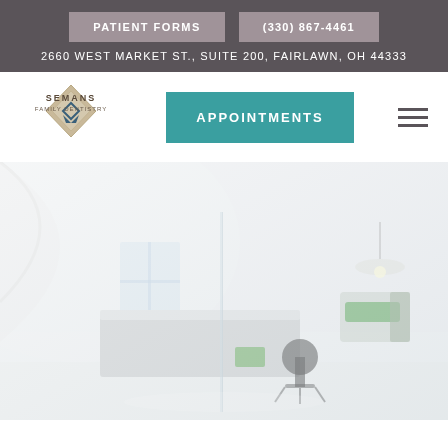PATIENT FORMS | (330) 867-4461
2660 WEST MARKET ST., SUITE 200, FAIRLAWN, OH 44333
[Figure (logo): Semans Family Dentistry diamond logo with text]
APPOINTMENTS
[Figure (photo): Modern dental office interior with white decor, dental chair with green accents, and reception counter]